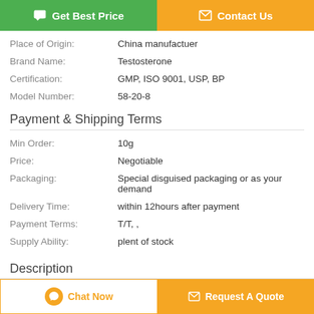[Figure (other): Two buttons: green 'Get Best Price' and orange 'Contact Us']
| Place of Origin: | China manufactuer |
| Brand Name: | Testosterone |
| Certification: | GMP, ISO 9001, USP, BP |
| Model Number: | 58-20-8 |
Payment & Shipping Terms
| Min Order: | 10g |
| Price: | Negotiable |
| Packaging: | Special disguised packaging or as your demand |
| Delivery Time: | within 12hours after payment |
| Payment Terms: | T/T, , |
| Supply Ability: | plent of stock |
Description
[Figure (other): Bottom bar with 'Chat Now' and 'Request A Quote' buttons]